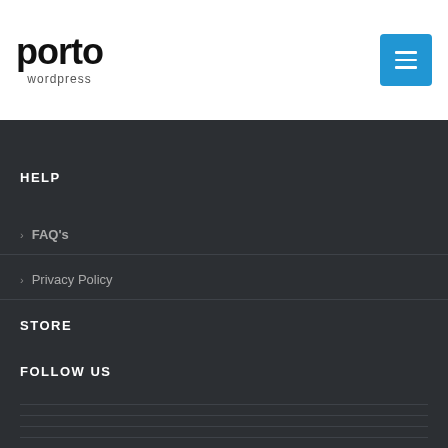porto wordpress
HELP
FAQ's
Privacy Policy
STORE
FOLLOW US
[Figure (logo): Porto wordpress footer logo in dark grey]
porto